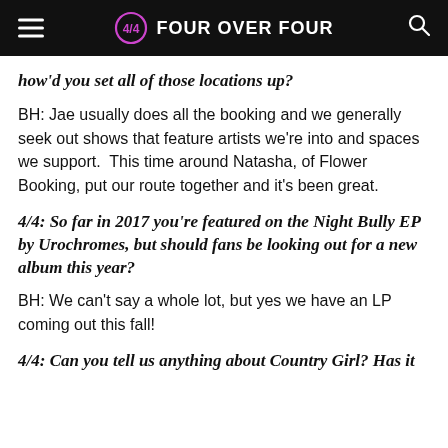FOUR OVER FOUR
how'd you set all of those locations up?
BH: Jae usually does all the booking and we generally seek out shows that feature artists we're into and spaces we support.  This time around Natasha, of Flower Booking, put our route together and it's been great.
4/4: So far in 2017 you're featured on the Night Bully EP by Urochromes, but should fans be looking out for a new album this year?
BH: We can't say a whole lot, but yes we have an LP coming out this fall!
4/4: Can you tell us anything about Country Girl? Has it